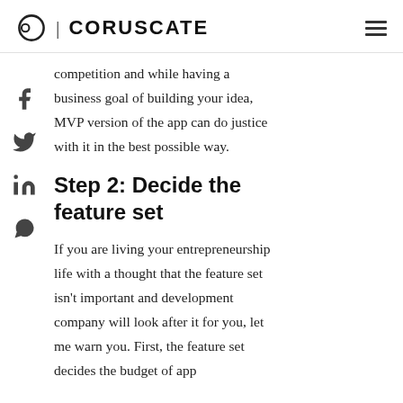CORUSCATE
competition and while having a business goal of building your idea, MVP version of the app can do justice with it in the best possible way.
Step 2: Decide the feature set
If you are living your entrepreneurship life with a thought that the feature set isn't important and development company will look after it for you, let me warn you. First, the feature set decides the budget of app